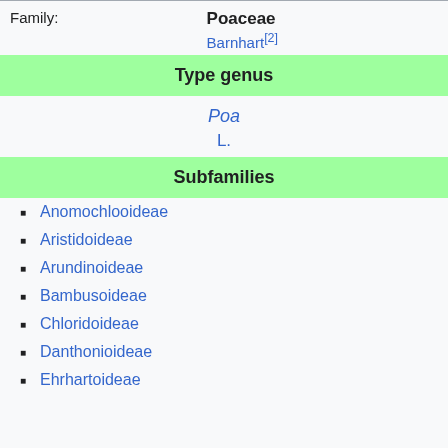| Family: | Poaceae
Barnhart[2] |
| Type genus |  |
|  | Poa
L. |
| Subfamilies |  |
Anomochlooideae
Aristidoideae
Arundinoideae
Bambusoideae
Chloridoideae
Danthonioideae
Ehrhartoideae